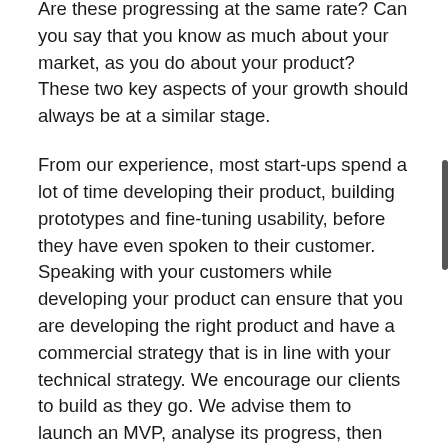between technical and commercial development. Are these progressing at the same rate? Can you say that you know as much about your market, as you do about your product? These two key aspects of your growth should always be at a similar stage.
From our experience, most start-ups spend a lot of time developing their product, building prototypes and fine-tuning usability, before they have even spoken to their customer. Speaking with your customers while developing your product can ensure that you are developing the right product and have a commercial strategy that is in line with your technical strategy. We encourage our clients to build as they go. We advise them to launch an MVP, analyse its progress, then launch a little more functionality, developing an iterative process.